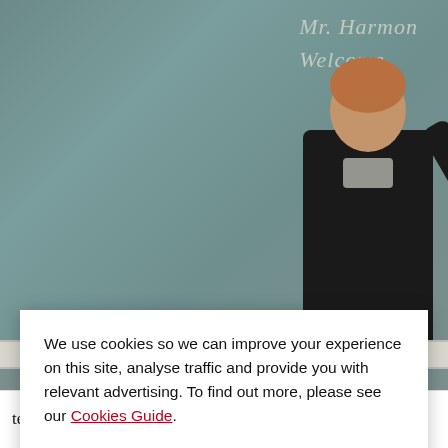[Figure (photo): A teacher writing on a chalkboard. The board shows cursive writing reading 'Mr. Harmon Welcome'. The teacher is seen from behind, wearing a dark jacket, writing with chalk. The bottom of the image shows a white chalk ledge.]
We use cookies so we can improve your experience on this site, analyse traffic and provide you with relevant advertising. To find out more, please see our Cookies Guide.
By continuing to use this site, you agree to our use of cookies.
teaching and learning hours, teachers have not only to